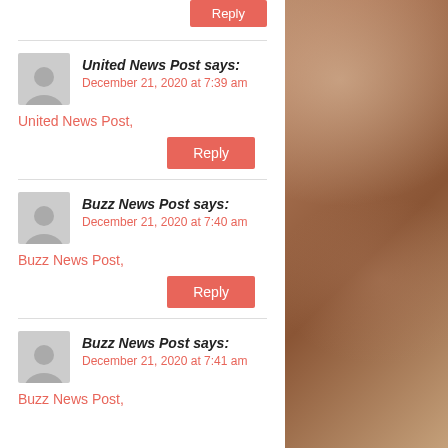Reply
United News Post says:
December 21, 2020 at 7:39 am
United News Post,
Reply
Buzz News Post says:
December 21, 2020 at 7:40 am
Buzz News Post,
Reply
Buzz News Post says:
December 21, 2020 at 7:41 am
Buzz News Post,